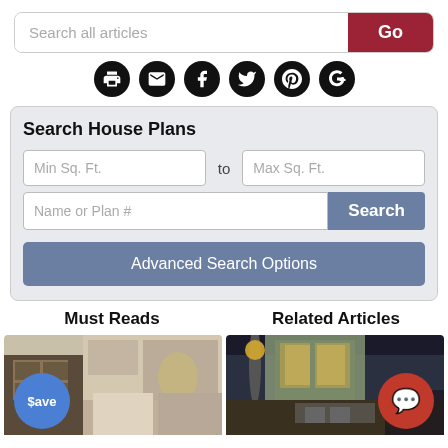[Figure (screenshot): Search all articles input bar with red Go button]
[Figure (infographic): Row of social sharing icons: print, email, Facebook, Twitter, Pinterest, Google+]
Search House Plans
[Figure (screenshot): House plan search form with Min Sq. Ft., to, Max Sq. Ft. fields, Name or Plan # input, Search button, and Advanced Search Options button]
Must Reads
Related Articles
[Figure (photo): Kitchen interior photo with a blue circle badge showing $ave]
[Figure (photo): Outdoor patio/house photo at night with a red chat bubble badge]